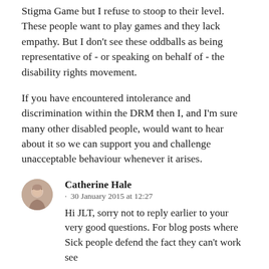Stigma Game but I refuse to stoop to their level. These people want to play games and they lack empathy. But I don't see these oddballs as being representative of - or speaking on behalf of - the disability rights movement.
If you have encountered intolerance and discrimination within the DRM then I, and I'm sure many other disabled people, would want to hear about it so we can support you and challenge unacceptable behaviour whenever it arises.
Catherine Hale · 30 January 2015 at 12:27
Hi JLT, sorry not to reply earlier to your very good questions. For blog posts where Sick people defend the fact they can't work see